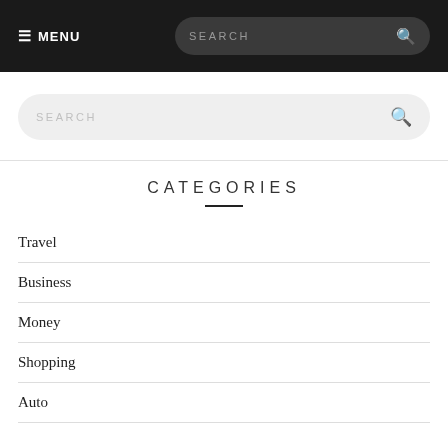☰ MENU   SEARCH
[Figure (screenshot): Search bar with rounded rectangle, light gray background, placeholder text SEARCH and magnifying glass icon]
CATEGORIES
Travel
Business
Money
Shopping
Auto